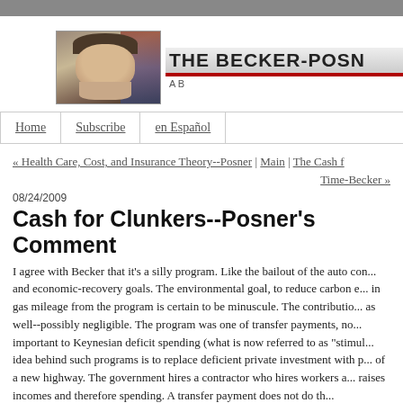[Figure (photo): Header banner of The Becker-Posner Blog with a photo of a man (Posner) on the left and the blog title logo on the right]
The Becker-Posn... A B...
Home
Subscribe
en Español
« Health Care, Cost, and Insurance Theory--Posner | Main | The Cash f... Time-Becker »
08/24/2009
Cash for Clunkers--Posner's Comment
I agree with Becker that it's a silly program. Like the bailout of the auto con... and economic-recovery goals. The environmental goal, to reduce carbon e... in gas mileage from the program is certain to be minuscule. The contributio... as well--possibly negligible. The program was one of transfer payments, no... important to Keynesian deficit spending (what is now referred to as "stimul... idea behind such programs is to replace deficient private investment with p... of a new highway. The government hires a contractor who hires workers a... raises incomes and therefore spending. A transfer payment does not do th...